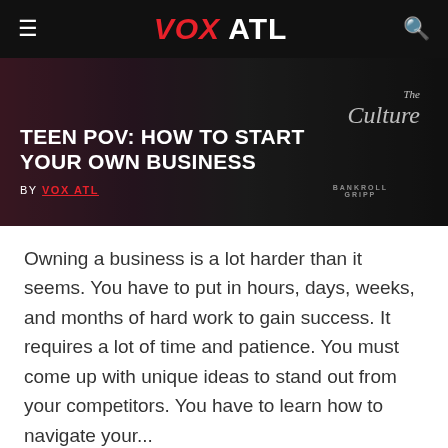VOX ATL
[Figure (photo): Hero image with dark background showing The Culture branding and Bankroll Gripp text, overlaid with article title and byline]
TEEN POV: HOW TO START YOUR OWN BUSINESS
BY VOX ATL
Owning a business is a lot harder than it seems. You have to put in hours, days, weeks, and months of hard work to gain success. It requires a lot of time and patience. You must come up with unique ideas to stand out from your competitors. You have to learn how to navigate your...
CONTINUE READING →